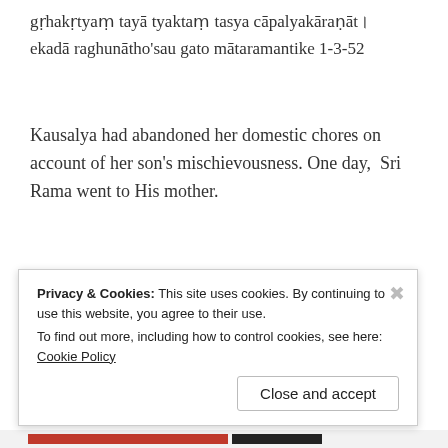gṛhakṛtyaṃ tayā tyaktaṃ tasya cāpalyakāraṇāt। ekadā raghunātho'sau gato mātaramantike 1-3-52
Kausalya had abandoned her domestic chores on account of her son's mischievousness. One day,  Sri Rama went to His mother.
Privacy & Cookies: This site uses cookies. By continuing to use this website, you agree to their use.
To find out more, including how to control cookies, see here: Cookie Policy